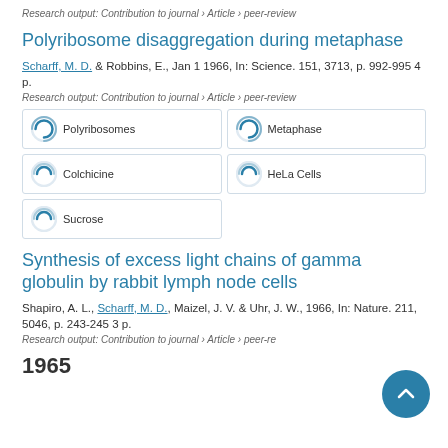Research output: Contribution to journal › Article › peer-review
Polyribosome disaggregation during metaphase
Scharff, M. D. & Robbins, E., Jan 1 1966, In: Science. 151, 3713, p. 992-995 4 p.
Research output: Contribution to journal › Article › peer-review
Polyribosomes
Metaphase
Colchicine
HeLa Cells
Sucrose
Synthesis of excess light chains of gamma globulin by rabbit lymph node cells
Shapiro, A. L., Scharff, M. D., Maizel, J. V. & Uhr, J. W., 1966, In: Nature. 211, 5046, p. 243-245 3 p.
Research output: Contribution to journal › Article › peer-re
1965